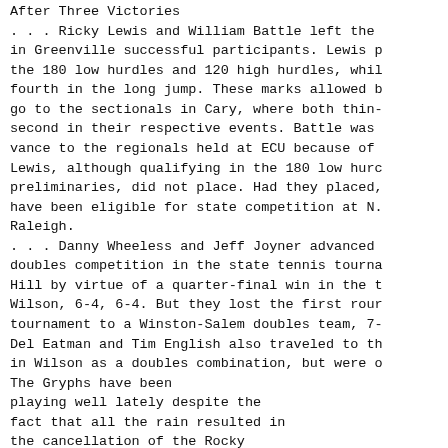After Three Victories
. . . Ricky Lewis and William Battle left the
in Greenville successful participants. Lewis p
the 180 low hurdles and 120 high hurdles, whil
fourth in the long jump. These marks allowed b
go to the sectionals in Cary, where both thin-
second in their respective events. Battle was
vance to the regionals held at ECU because of
Lewis, although qualifying in the 180 low hurc
preliminaries, did not place. Had they placed,
have been eligible for state competition at N.
Raleigh.
. . . Danny Wheeless and Jeff Joyner advanced
doubles competition in the state tennis tourna
Hill by virtue of a quarter-final win in the t
Wilson, 6-4, 6-4. But they lost the first rour
tournament to a Winston-Salem doubles team, 7-
Del Eatman and Tim English also traveled to th
in Wilson as a doubles combination, but were o
The Gryphs have been
playing well lately despite the
fact that all the rain resulted in
the cancellation of the Rocky
Mount-Northern Nash game.